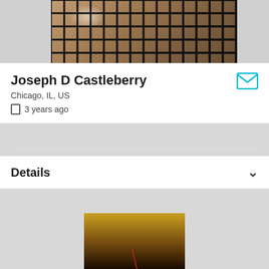[Figure (photo): Top portion of a profile photo showing a person wearing a fishnet garment with a bright glare/light visible in the background]
Joseph D Castleberry
Chicago, IL, US
3 years ago
Details
[Figure (photo): Bottom portion showing another profile photo with warm brown/gold tones, partially visible]